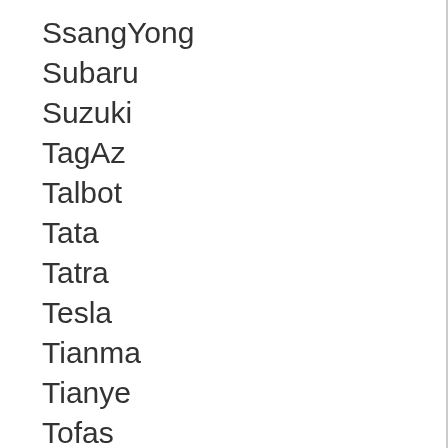SsangYong
Subaru
Suzuki
TagAz
Talbot
Tata
Tatra
Tesla
Tianma
Tianye
Tofas